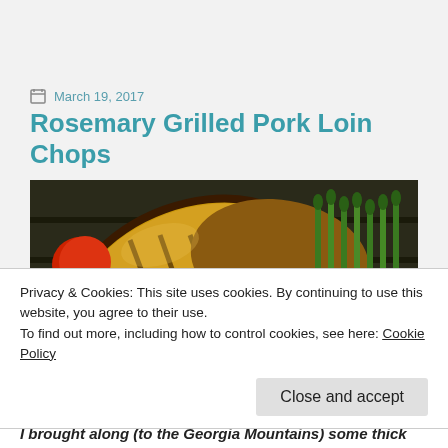March 19, 2017
Rosemary Grilled Pork Loin Chops
[Figure (photo): Grilled pork loin chops on a grill with asparagus and tomatoes]
Privacy & Cookies: This site uses cookies. By continuing to use this website, you agree to their use.
To find out more, including how to control cookies, see here: Cookie Policy
Close and accept
I brought along (to the Georgia Mountains) some thick